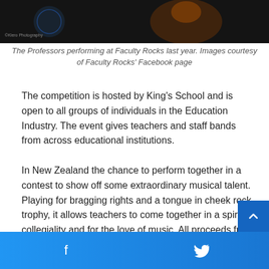[Figure (photo): Dark stage photo of The Professors performing at Faculty Rocks, with a saxophone visible]
The Professors performing at Faculty Rocks last year. Images courtesy of Faculty Rocks' Facebook page
The competition is hosted by King's School and is open to all groups of individuals in the Education Industry. The event gives teachers and staff bands from across educational institutions.
In New Zealand the chance to perform together in a contest to show off some extraordinary musical talent. Playing for bragging rights and a tongue in cheek rock trophy, it allows teachers to come together in a spirit of collegiality and for the love of music. All proceeds from the event go to the Raukatauri Music Therapy Centre.